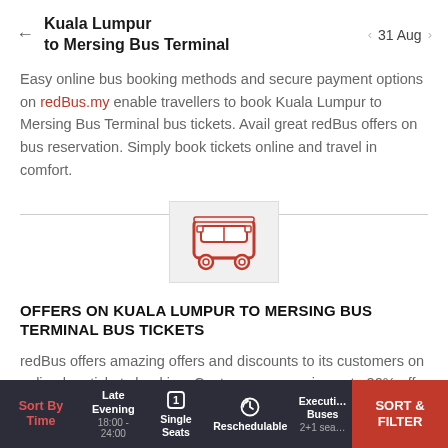Kuala Lumpur to Mersing Bus Terminal | 31 Aug
Easy online bus booking methods and secure payment options on redBus.my enable travellers to book Kuala Lumpur to Mersing Bus Terminal bus tickets. Avail great redBus offers on bus reservation. Simply book tickets online and travel in comfort.
[Figure (illustration): Red bus icon centered on a light gray background, positioned over a horizontal divider line]
OFFERS ON KUALA LUMPUR TO MERSING BUS TERMINAL BUS TICKETS
redBus offers amazing offers and discounts to its customers on online bus tickets booking. Customers can enjoy upto 20% off on their Kuala Lumpur to Mersing Bus Terminal bus tickets. Select any of the buses available on
Sort By Time | Late Evening 18:00 - 24:00 | Single Seats | Reschedulable | Executive Buses 2+1 sea... | SORT & FILTER